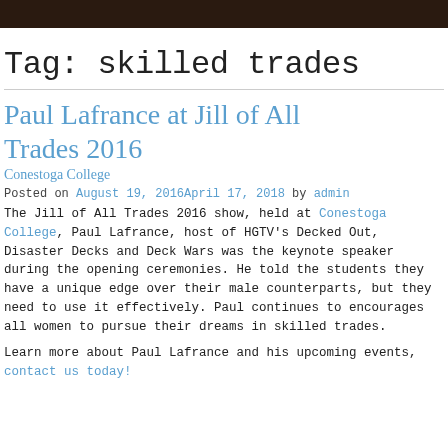Tag: skilled trades
Paul Lafrance at Jill of All Trades 2016
Conestoga College
Posted on August 19, 2016April 17, 2018 by admin
The Jill of All Trades 2016 show, held at Conestoga College, Paul Lafrance, host of HGTV's Decked Out, Disaster Decks and Deck Wars was the keynote speaker during the opening ceremonies. He told the students they have a unique edge over their male counterparts, but they need to use it effectively. Paul continues to encourages all women to pursue their dreams in skilled trades.
Learn more about Paul Lafrance and his upcoming events, contact us today!